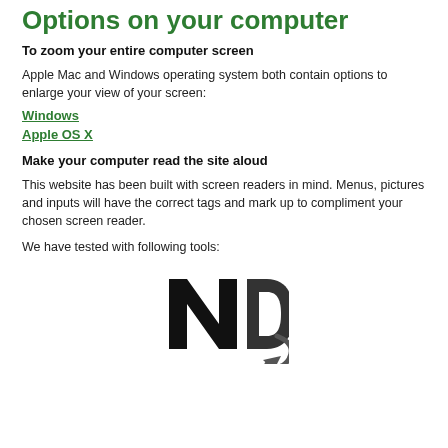Options on your computer
To zoom your entire computer screen
Apple Mac and Windows operating system both contain options to enlarge your view of your screen:
Windows
Apple OS X
Make your computer read the site aloud
This website has been built with screen readers in mind. Menus, pictures and inputs will have the correct tags and mark up to compliment your chosen screen reader.
We have tested with following tools:
[Figure (logo): NVDA screen reader logo — large stylized letters 'N' and 'D' with a swooping arrow graphic in black and dark grey]